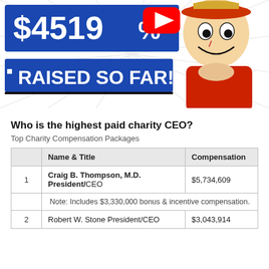[Figure (screenshot): YouTube video thumbnail showing '$4519' raised so far text in blue on white background, YouTube play button logo, and anime character (Luffy from One Piece) in red outfit on the right side with manga-style radiating lines background]
Who is the highest paid charity CEO?
Top Charity Compensation Packages
|  | Name & Title | Compensation |
| --- | --- | --- |
| 1 | Craig B. Thompson, M.D. President/CEO | $5,734,609 |
|  | Note: Includes $3,330,000 bonus & incentive compensation. |  |
| 2 | Robert W. Stone President/CEO | $3,043,914 |